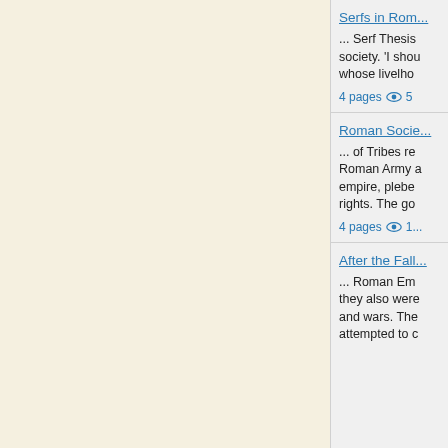Serfs in Rom...
... Serf Thesis... society. 'I shou... whose livelho...
4 pages   5
Roman Socie...
... of Tribes re... Roman Army ... empire, plebe... rights. The go...
4 pages   1...
After the Fall...
... Roman Em... they also were... and wars. The... attempted to c...